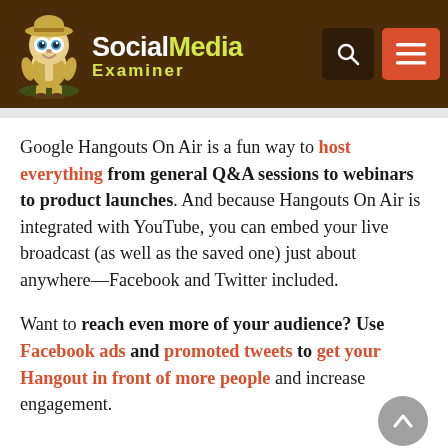Social Media Examiner
Google Hangouts On Air is a fun way to host everything from general Q&A sessions to webinars to product launches. And because Hangouts On Air is integrated with YouTube, you can embed your live broadcast (as well as the saved one) just about anywhere—Facebook and Twitter included.
Want to reach even more of your audience? Use Facebook ads and promoted tweets to get your Hangout in front of more people and increase engagement.